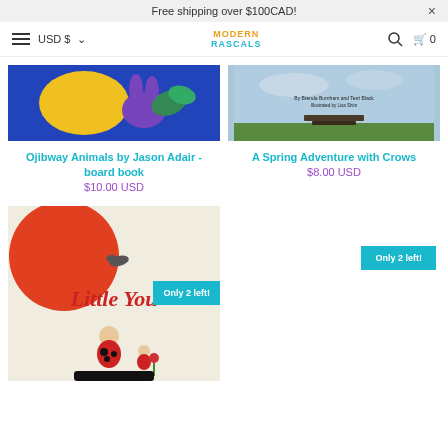Free shipping over $100CAD!
[Figure (screenshot): Navigation bar with hamburger menu, USD $ currency selector, Modern Rascals logo, search icon, and cart icon with 0]
[Figure (photo): Book cover: Ojibway Animals by Jason Adair - board book (blue background with animal illustrations)]
Ojibway Animals by Jason Adair - board book
$10.00 USD
[Figure (photo): Book cover: A Spring Adventure with Crows (sky/grass background with author text: By Brenda Burnham and Terri Black, Illustrated by Lisa Shim)]
A Spring Adventure with Crows
$8.00 USD
[Figure (photo): Book cover: Little You (beige background with red sun, bird, and illustrated child figure with ladybug costume and flowers). Badge: Only 2 left!]
Only 2 left!
Only 2 left!